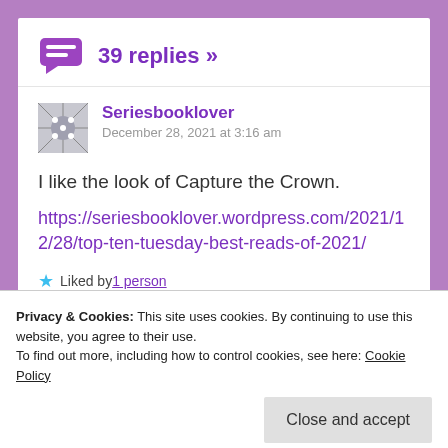39 replies »
Seriesbooklover
December 28, 2021 at 3:16 am
I like the look of Capture the Crown.
https://seriesbooklover.wordpress.com/2021/12/28/top-ten-tuesday-best-reads-of-2021/
Liked by 1 person
REPLY
Privacy & Cookies: This site uses cookies. By continuing to use this website, you agree to their use.
To find out more, including how to control cookies, see here: Cookie Policy
Close and accept
it's such a great story – I'm a huge fan of